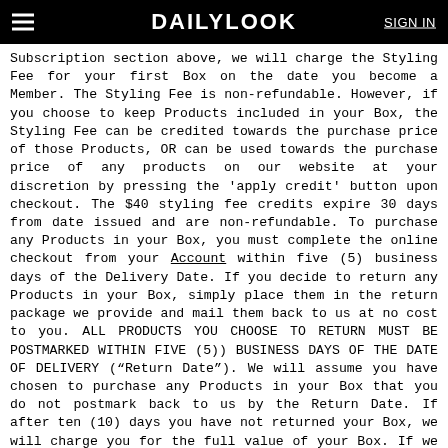DAILYLOOK | SIGN IN
Subscription section above, we will charge the Styling Fee for your first Box on the date you become a Member. The Styling Fee is non-refundable. However, if you choose to keep Products included in your Box, the Styling Fee can be credited towards the purchase price of those Products, OR can be used towards the purchase price of any products on our website at your discretion by pressing the 'apply credit' button upon checkout. The $40 styling fee credits expire 30 days from date issued and are non-refundable. To purchase any Products in your Box, you must complete the online checkout from your Account within five (5) business days of the Delivery Date. If you decide to return any Products in your Box, simply place them in the return package we provide and mail them back to us at no cost to you. ALL PRODUCTS YOU CHOOSE TO RETURN MUST BE POSTMARKED WITHIN FIVE (5)) BUSINESS DAYS OF THE DATE OF DELIVERY (“Return Date”). We will assume you have chosen to purchase any Products in your Box that you do not postmark back to us by the Return Date. If after ten (10) days you have not returned your Box, we will charge you for the full value of your Box. If we are unable to charge the full value of the box, we will attempt to collect a percentage of the order at a later time. By submitting your payment information to DailyLook, you authorize us to charge the applicable payment method for all unreturned Products in your Box, including any applicable sales tax, at any time after the Return Date.
b. Boxes returned after 30 days from the allotted (5)